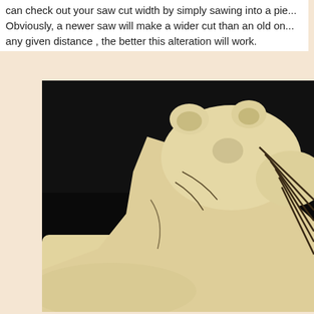can check out your saw cut width by simply sawing into a pie... Obviously, a newer saw will make a wider cut than an old on... any given distance , the better this alteration will work.
[Figure (photo): A cream/ivory colored carved sculpture of an animal head (appears to be a cat or feline), with decorative parallel line engravings along the neck/face area, photographed against a dark black background.]